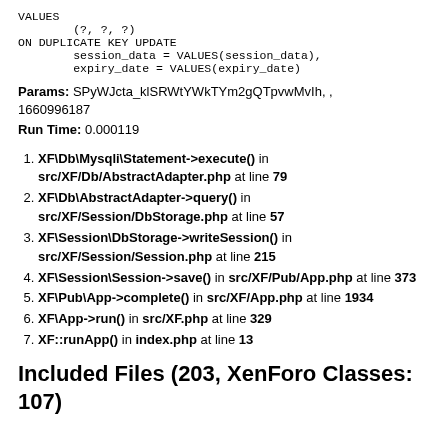VALUES
        (?, ?, ?)
ON DUPLICATE KEY UPDATE
        session_data = VALUES(session_data),
        expiry_date = VALUES(expiry_date)
Params: SPyWJcta_klSRWtYWkTYm2gQTpvwMvIh, , 1660996187
Run Time: 0.000119
XF\Db\Mysqli\Statement->execute() in src/XF/Db/AbstractAdapter.php at line 79
XF\Db\AbstractAdapter->query() in src/XF/Session/DbStorage.php at line 57
XF\Session\DbStorage->writeSession() in src/XF/Session/Session.php at line 215
XF\Session\Session->save() in src/XF/Pub/App.php at line 373
XF\Pub\App->complete() in src/XF/App.php at line 1934
XF\App->run() in src/XF.php at line 329
XF::runApp() in index.php at line 13
Included Files (203, XenForo Classes: 107)